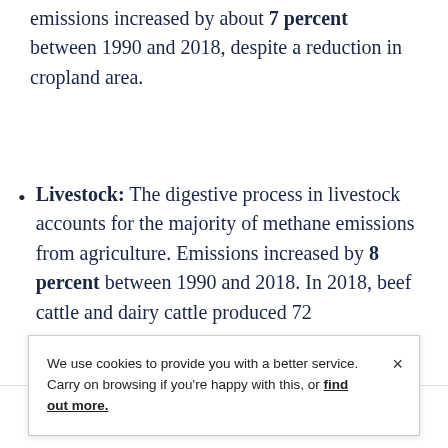emissions increased by about 7 percent between 1990 and 2018, despite a reduction in cropland area.
Livestock: The digestive process in livestock accounts for the majority of methane emissions from agriculture. Emissions increased by 8 percent between 1990 and 2018. In 2018, beef cattle and dairy cattle produced 72
We use cookies to provide you with a better service. Carry on browsing if you're happy with this, or find out more.
Email | Print | Twitter | LinkedIn